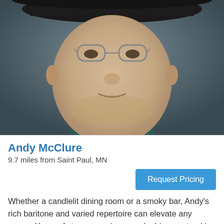[Figure (photo): Close-up portrait photo of Andy McClure, a man wearing glasses and a dark hat, with slight stubble, looking toward the camera with a slight smile, against a dark gray background]
Andy McClure
9.7 miles from Saint Paul, MN
Request Pricing
Whether a candlelit dining room or a smoky bar, Andy's rich baritone and varied repertoire can elevate any venue. Years of stage experience make him a natural in any setting, engaging the audience for an evening of classics, modern hits and a few